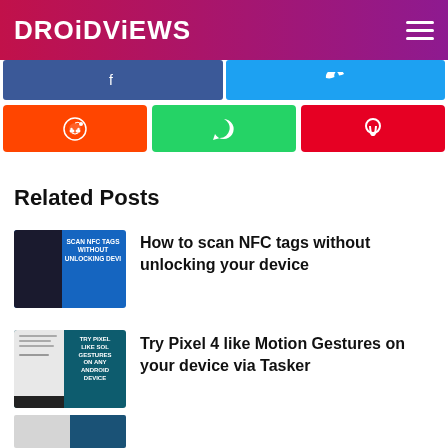DROIDViews
[Figure (screenshot): Social share buttons: Facebook (blue), Twitter (light blue), Reddit (orange), WhatsApp (green), Pinterest (red)]
Related Posts
[Figure (screenshot): Article thumbnail: Scan NFC Tags Without Unlocking Device on blue background]
How to scan NFC tags without unlocking your device
[Figure (screenshot): Article thumbnail: Try Pixel 4 like Motion Gestures on any Android device via Tasker]
Try Pixel 4 like Motion Gestures on your device via Tasker